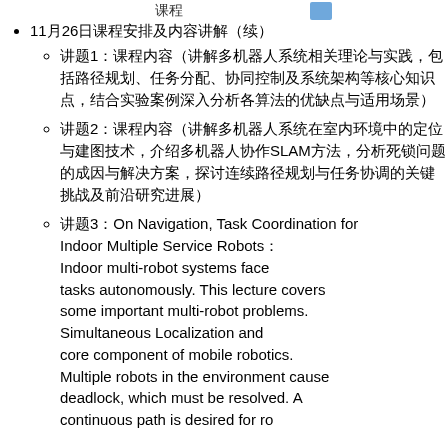课程
11月26日课程安排及内容讲解（续）
讲题1：课程内容（中文）
讲题2：课程内容（中文）
讲题3：On Navigation, Task Coordination for Indoor Multiple Service Robots。Indoor multi-robot systems face tasks autonomously. This lecture covers some important multi-robot problems. Simultaneous Localization and Mapping is a core component of mobile robotics. Multiple robots in the environment cause deadlock, which must be resolved. A continuous path is desired for ro...